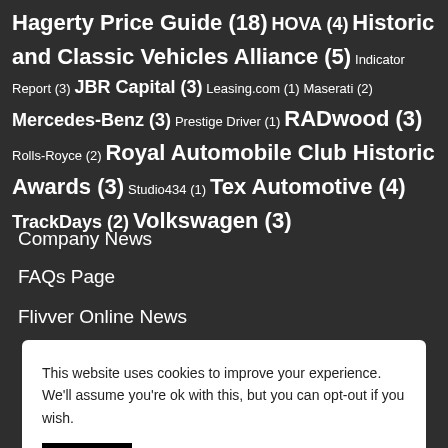Hagerty Price Guide (18) HOVA (4) Historic and Classic Vehicles Alliance (5) Indicator Report (3) JBR Capital (3) Leasing.com (1) Maserati (2) Mercedes-Benz (3) Prestige Driver (1) RADwood (3) Rolls-Royce (2) Royal Automobile Club Historic Awards (3) Studio434 (1) Tex Automotive (4) TrackDays (2) Volkswagen (3)
This website uses cookies to improve your experience. We'll assume you're ok with this, but you can opt-out if you wish.
Accept  Read Privacy & Cookie Policy
Company News
FAQs Page
Flivver Online News
Industry News
Portfolio Page
Resources Page
[Figure (logo): Google reCAPTCHA badge with blue/red logo and Privacy · Terms text]